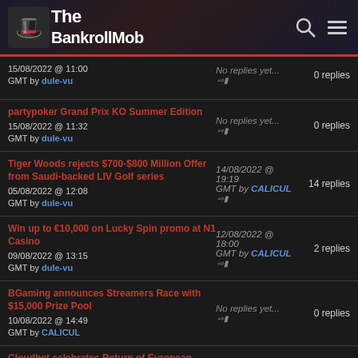The BankrollMob
15/08/2022 @ 11:00 GMT by dule-vu | No replies yet... | 0 replies
partypoker Grand Prix KO Summer Edition | 15/08/2022 @ 11:32 GMT by dule-vu | No replies yet... | 0 replies
Tiger Woods rejects $700-$800 Million Offer from Saudi-backed LIV Golf series | 05/08/2022 @ 12:08 GMT by dule-vu | 14/08/2022 @ 19:19 GMT by CALICUL | 14 replies
Win up to €10,000 on Lucky Spin promo at N1 Casino | 09/08/2022 @ 13:15 GMT by dule-vu | 12/08/2022 @ 18:00 GMT by CALICUL | 2 replies
BGaming announces Streamers Race with $15,000 Prize Pool | 10/08/2022 @ 14:49 GMT by CALICUL | No replies yet... | 0 replies
Cloudbet celebrates Return of European Soccer with $10,000 USDT Giveaway | 08/08/2022 @ 12:39 GMT by CALICUL | No replies yet... | 0 replies